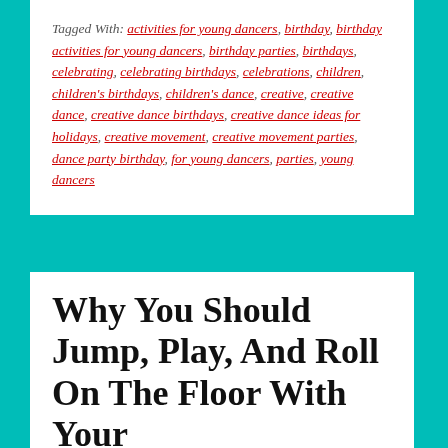Tagged With: activities for young dancers, birthday, birthday activities for young dancers, birthday parties, birthdays, celebrating, celebrating birthdays, celebrations, children, children's birthdays, children's dance, creative, creative dance, creative dance birthdays, creative dance ideas for holidays, creative movement, creative movement parties, dance party birthday, for young dancers, parties, young dancers
Why You Should Jump, Play, And Roll On The Floor With Your